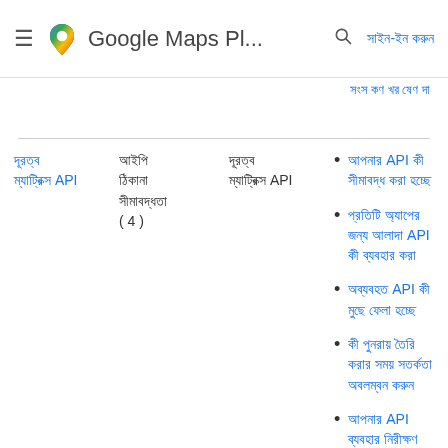Google Maps Pl... সাইন-ইন করুন
সংস কণ খর ষেণ দা
দূরত্ব ম্যাট্রিক্স API
আইপি ঠিকানা সীমাবদ্ধতা ( 4 )
দূরত্ব ম্যাট্রিক্স API
আপনার API কী সীমাবদ্ধ করা হচ্ছে
প্রতিটি অ্যাপের জন্য আলাদা API কী ব্যবহার করা
অব্যবহত API কী মুছে ফেলা হচ্ছে
কী পুনরায় তৈরি করার সময় সতর্কতা অবলম্বন করুন
আপনার API ব্যবহার নিরীক্ষণ
কোডে সরাসির API কী এম্বেড করবেন না
উৎস গাছে API কী